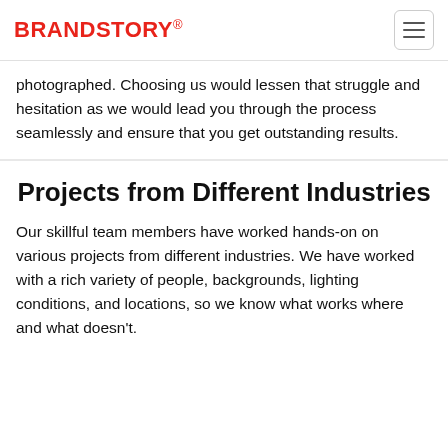BRANDSTORY®
photographed. Choosing us would lessen that struggle and hesitation as we would lead you through the process seamlessly and ensure that you get outstanding results.
Projects from Different Industries
Our skillful team members have worked hands-on on various projects from different industries. We have worked with a rich variety of people, backgrounds, lighting conditions, and locations, so we know what works where and what doesn't.